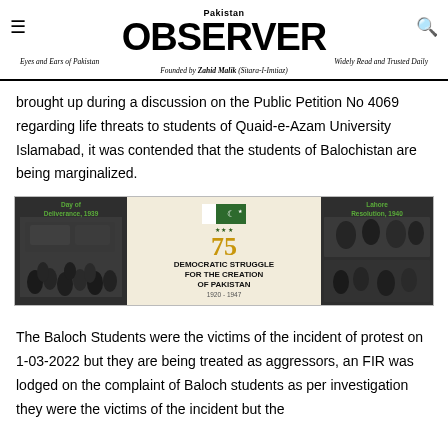Pakistan OBSERVER — Eyes and Ears of Pakistan | Widely Read and Trusted Daily | Founded by Zahid Malik (Sitara-I-Imtiaz)
brought up during a discussion on the Public Petition No 4069 regarding life threats to students of Quaid-e-Azam University Islamabad, it was contended that the students of Balochistan are being marginalized.
[Figure (infographic): Advertisement banner: Democratic Struggle for the Creation of Pakistan 1920-1947, 75th anniversary. Features Day of Deliverance 1939 photo on left and Lahore Resolution 1940 photos on right, with Pakistan flag and government emblem in center.]
The Baloch Students were the victims of the incident of protest on 1-03-2022 but they are being treated as aggressors, an FIR was lodged on the complaint of Baloch students as per investigation they were the victims of the incident but the